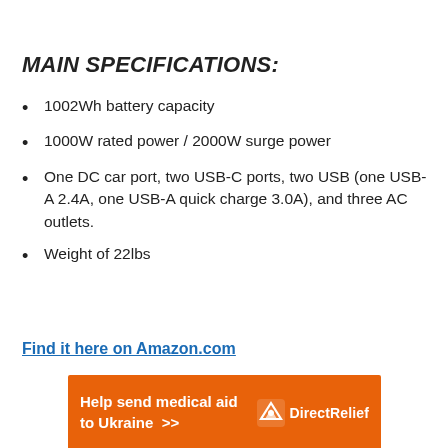MAIN SPECIFICATIONS:
1002Wh battery capacity
1000W rated power / 2000W surge power
One DC car port, two USB-C ports, two USB (one USB-A 2.4A, one USB-A quick charge 3.0A), and three AC outlets.
Weight of 22lbs
Find it here on Amazon.com
[Figure (other): Orange advertisement banner: 'Help send medical aid to Ukraine >>' with Direct Relief logo on right]